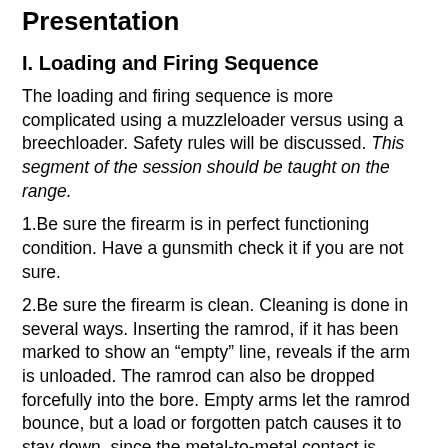Presentation
I. Loading and Firing Sequence
The loading and firing sequence is more complicated using a muzzleloader versus using a breechloader. Safety rules will be discussed. This segment of the session should be taught on the range.
1.Be sure the firearm is in perfect functioning condition. Have a gunsmith check it if you are not sure.
2.Be sure the firearm is clean. Cleaning is done in several ways. Inserting the ramrod, if it has been marked to show an “empty” line, reveals if the arm is unloaded. The ramrod can also be dropped forcefully into the bore. Empty arms let the ramrod bounce, but a load or forgotten patch causes it to stay down, since the metal-to-metal contact is padded. Both the sound and the action of the rod are good clues. Finally, many muzzleloader shooters raise the hammer or frizzen and